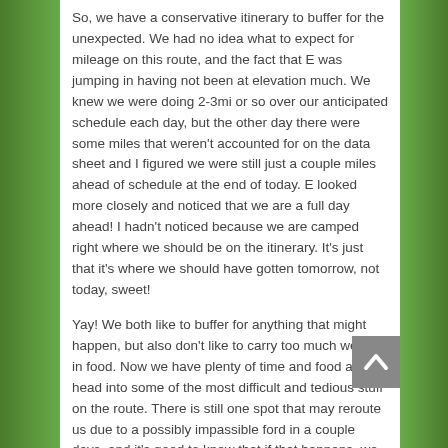So, we have a conservative itinerary to buffer for the unexpected. We had no idea what to expect for mileage on this route, and the fact that E was jumping in having not been at elevation much. We knew we were doing 2-3mi or so over our anticipated schedule each day, but the other day there were some miles that weren't accounted for on the data sheet and I figured we were still just a couple miles ahead of schedule at the end of today. E looked more closely and noticed that we are a full day ahead! I hadn't noticed because we are camped right where we should be on the itinerary. It's just that it's where we should have gotten tomorrow, not today, sweet!
Yay! We both like to buffer for anything that might happen, but also don't like to carry too much weight in food. Now we have plenty of time and food as we head into some of the most difficult and tedious stuff on the route. There is still one spot that may reroute us due to a possibly impassible ford in a couple days, and it's good to know that if that happens, we have plenty of wiggle room. Tomorrow